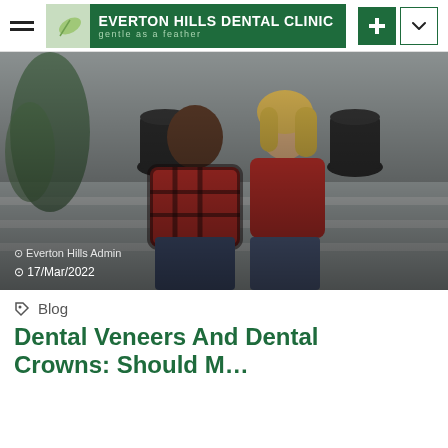Everton Hills Dental Clinic – gentle as a feather
[Figure (photo): A smiling couple sitting on steps outside a home. The man wears a red and black plaid flannel shirt; the woman wears a red hoodie. Large black vases and greenery are visible in the background. Overlay text shows author 'Everton Hills Admin' and date '17/Mar/2022'.]
Blog
Dental Veneers And Dental Crowns: Should You…